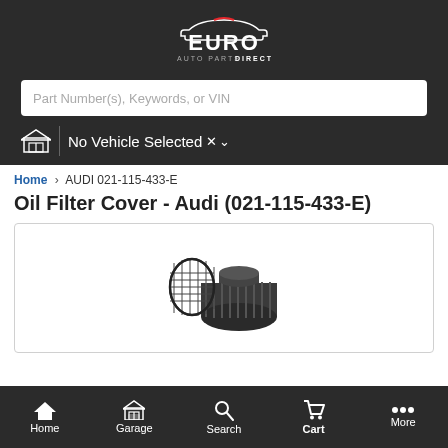Euro Auto Parts Direct
Part Number(s), Keywords, or VIN
No Vehicle Selected
Home › AUDI 021-115-433-E
Oil Filter Cover - Audi (021-115-433-E)
[Figure (photo): Photo of an oil filter cover part for Audi, part number 021-115-433-E, showing a black circular cap with ribbed grip texture and a mesh/cage filter element on a white background.]
Home  Garage  Search  Cart  More